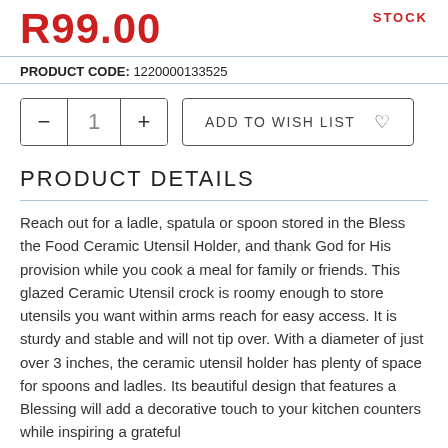R99.00
STOCK
PRODUCT CODE: 1220000133525
- 1 + ADD TO WISH LIST ♡
PRODUCT DETAILS
Reach out for a ladle, spatula or spoon stored in the Bless the Food Ceramic Utensil Holder, and thank God for His provision while you cook a meal for family or friends. This glazed Ceramic Utensil crock is roomy enough to store utensils you want within arms reach for easy access. It is sturdy and stable and will not tip over. With a diameter of just over 3 inches, the ceramic utensil holder has plenty of space for spoons and ladles. Its beautiful design that features a Blessing will add a decorative touch to your kitchen counters while inspiring a grateful